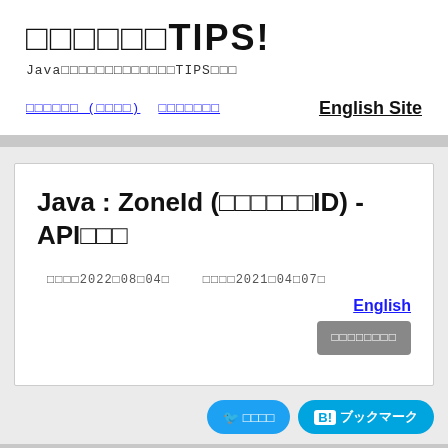□□□□□□TIPS!
Java□□□□□□□□□□□□□TIPS□□□
□□□□□□ (□□□□) □□□□□□□□  English Site
Java : ZoneId (□□□□□□ID) - API□□□
□□□□2022□08□04□  □□□□2021□04□07□
English
□□□□□□□□
□ □□□□  B! ブックマーク